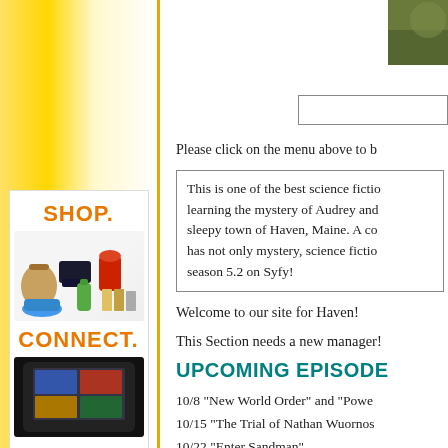[Figure (illustration): Amazon shop ad with product images: bag, gaming console, kitchen mixer, shoes, water bottle, books. Text: SHOP. CONNECT. ENJOY. with Kindle tablet image.]
[Figure (photo): Top right corner partial nature/outdoor photo in green tones]
Please click on the menu above to b
This is one of the best science fictio learning the mystery of Audrey and sleepy town of Haven, Maine. A co has not only mystery, science fictio season 5.2 on Syfy!
Welcome to our site for Haven!
This Section needs a new manager!
UPCOMING EPISODES
10/8 "New World Order" and "Powe
10/15 "The Trial of Nathan Wuornos
10/22 "Enter Sandman"
10/29 "Wild Card"